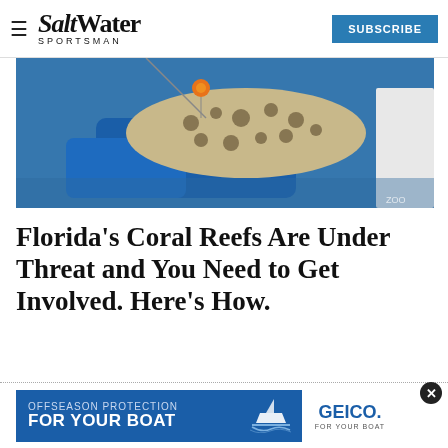Salt Water Sportsman — SUBSCRIBE
[Figure (photo): Person holding a large spotted fish (grouper or similar) on a boat deck, fishing gear visible, over blue water]
Florida's Coral Reefs Are Under Threat and You Need to Get Involved. Here's How.
[Figure (other): GEICO advertisement: OFFSEASON PROTECTION FOR YOUR BOAT, with boat illustration and GEICO FOR YOUR BOAT logo]